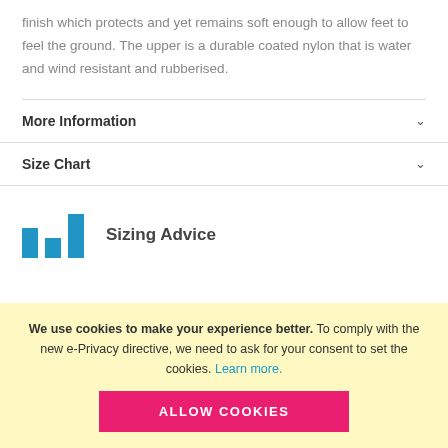finish which protects and yet remains soft enough to allow feet to feel the ground. The upper is a durable coated nylon that is water and wind resistant and rubberised.
More Information
Size Chart
[Figure (infographic): Bar chart icon in blue representing sizing advice section]
Sizing Advice
We use cookies to make your experience better. To comply with the new e-Privacy directive, we need to ask for your consent to set the cookies. Learn more. ALLOW COOKIES